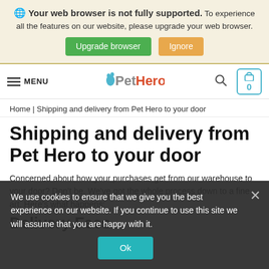Your web browser is not fully supported. To experience all the features on our website, please upgrade your web browser. Upgrade browser | Ignore
[Figure (logo): Pet Hero website navigation bar with hamburger menu, Pet Hero logo, search icon, and cart showing 0]
Home | Shipping and delivery from Pet Hero to your door
Shipping and delivery from Pet Hero to your door
Concerned about how your purchases get from our warehouse to your door? Don't be. We've got the whole process down to a fine art. Here's what happens:
Delivery Fees
We use cookies to ensure that we give you the best experience on our website. If you continue to use this site we will assume that you are happy with it. Ok